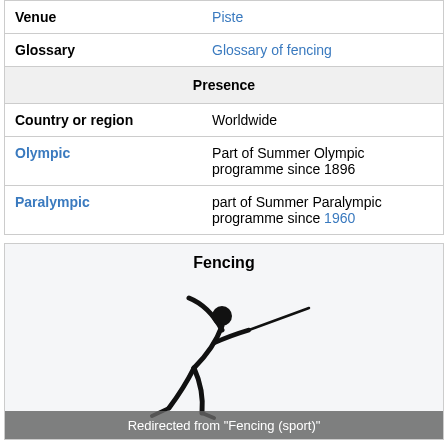| Venue | Piste |
| Glossary | Glossary of fencing |
| Presence |  |
| Country or region | Worldwide |
| Olympic | Part of Summer Olympic programme since 1896 |
| Paralympic | part of Summer Paralympic programme since 1960 |
[Figure (illustration): Fencing sport pictogram showing a fencer in lunging pose with sword extended]
Redirected from "Fencing (sport)"